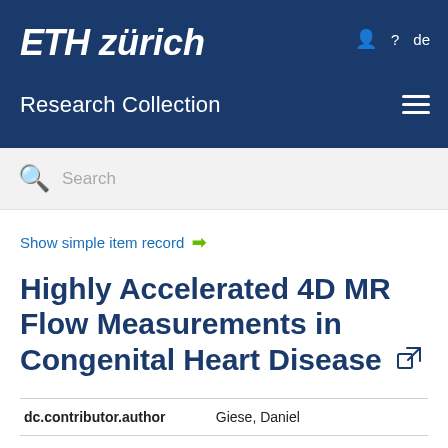ETH zürich Research Collection
Search
Show simple item record →
Highly Accelerated 4D MR Flow Measurements in Congenital Heart Disease
|  |  |
| --- | --- |
| dc.contributor.author | Giese, Daniel |
| dc.contributor.author | Greil, Gerald |